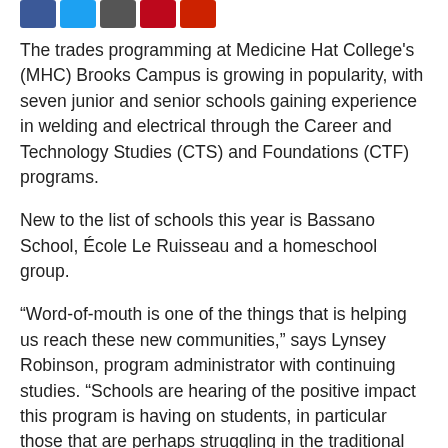[Figure (other): Row of social media share buttons: Facebook (blue), Twitter (light blue), bookmark/email (dark grey), Pinterest (red), another red button]
The trades programming at Medicine Hat College's (MHC) Brooks Campus is growing in popularity, with seven junior and senior schools gaining experience in welding and electrical through the Career and Technology Studies (CTS) and Foundations (CTF) programs.
New to the list of schools this year is Bassano School, École Le Ruisseau and a homeschool group.
“Word-of-mouth is one of the things that is helping us reach these new communities,” says Lynsey Robinson, program administrator with continuing studies. “Schools are hearing of the positive impact this program is having on students, in particular those that are perhaps struggling in the traditional classroom setting, and as a result are wanting to get involved.”
Kelly Thornton, instructor for welding, feels that programs like these are essential due to the exposure they give the industry and the opportunity for students to try a trade